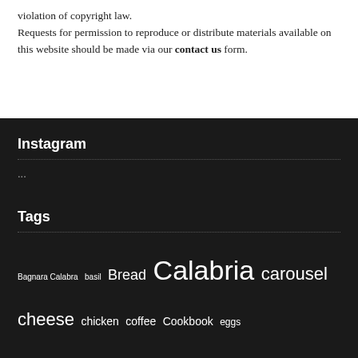violation of copyright law. Requests for permission to reproduce or distribute materials available on this website should be made via our contact us form.
Instagram
...
Tags
Bagnara Calabra  basil  Bread  Calabria  carousel  cheese  chicken  coffee  Cookbook  eggs  espresso  extra virgin olive oil  featured  figs  fish  food  garlic  gravy  happiness  italian food  italian recipes  Italy  kitchen tools  lunch  mushrooms  New